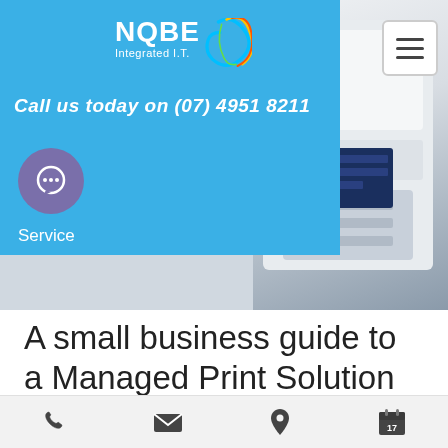[Figure (screenshot): NQBE Integrated I.T. website header with blue panel overlay, logo with colorful swirl, hamburger menu, phone number, chat icon, and a printer/copier machine photo on the right]
Call us today on (07) 4951 8211
Service
A small business guide to a Managed Print Solution
[Figure (infographic): Bottom navigation bar with phone, email, location, and calendar icons]